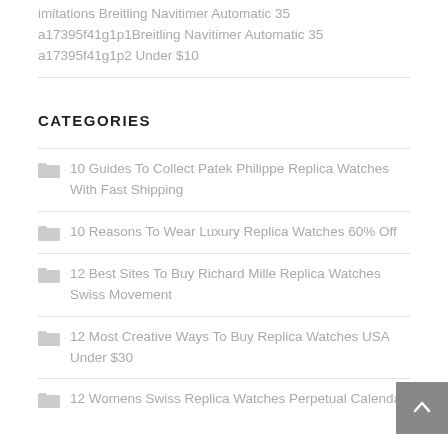imitations Breitling Navitimer Automatic 35 a17395f41g1p1Breitling Navitimer Automatic 35 a17395f41g1p2 Under $10
CATEGORIES
10 Guides To Collect Patek Philippe Replica Watches With Fast Shipping
10 Reasons To Wear Luxury Replica Watches 60% Off
12 Best Sites To Buy Richard Mille Replica Watches Swiss Movement
12 Most Creative Ways To Buy Replica Watches USA Under $30
12 Womens Swiss Replica Watches Perpetual Calendar